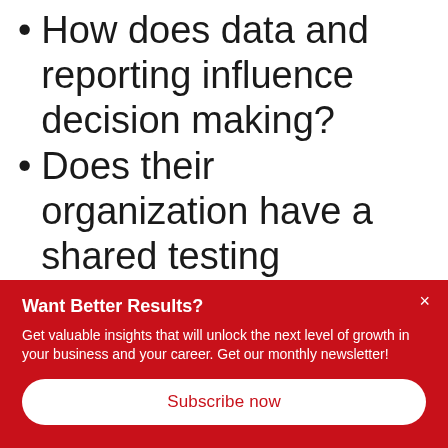How does data and reporting influence decision making?
Does their organization have a shared testing philosophy when it comes to marketing?
Want Better Results?
Get valuable insights that will unlock the next level of growth in your business and your career. Get our monthly newsletter!
Subscribe now